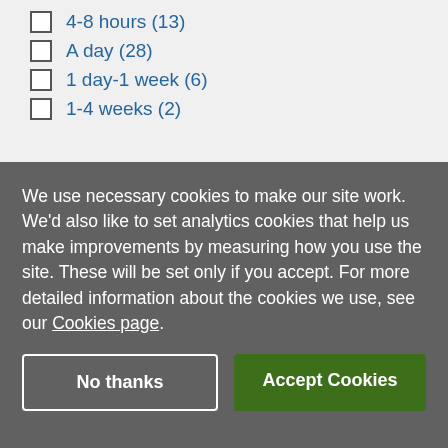4-8 hours (13)
A day (28)
1 day-1 week (6)
1-4 weeks (2)
We use necessary cookies to make our site work. We'd also like to set analytics cookies that help us make improvements by measuring how you use the site. These will be set only if you accept. For more detailed information about the cookies we use, see our Cookies page.